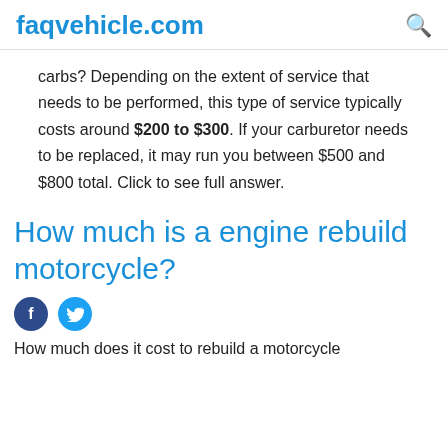faqvehicle.com
carbs? Depending on the extent of service that needs to be performed, this type of service typically costs around $200 to $300. If your carburetor needs to be replaced, it may run you between $500 and $800 total. Click to see full answer.
How much is a engine rebuild motorcycle?
How much does it cost to rebuild a motorcycle